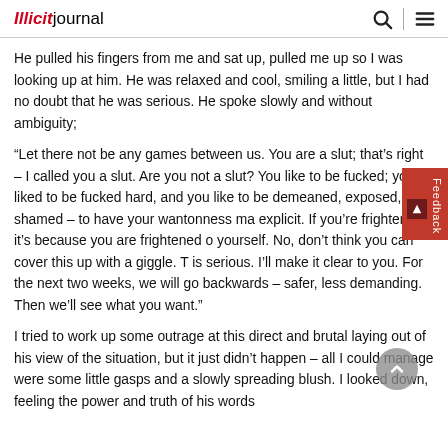Illicitjournal
He pulled his fingers from me and sat up, pulled me up so I was looking up at him. He was relaxed and cool, smiling a little, but I had no doubt that he was serious. He spoke slowly and without ambiguity;
“Let there not be any games between us. You are a slut; that’s right – I called you a slut. Are you not a slut? You like to be fucked; you liked to be fucked hard, and you like to be demeaned, exposed, shamed – to have your wantonness ma explicit. If you’re frightened, it’s because you are frightened o yourself. No, don’t think you can cover this up with a giggle. T is serious. I’ll make it clear to you. For the next two weeks, we will go backwards – safer, less demanding. Then we’ll see what you want.”
I tried to work up some outrage at this direct and brutal laying out of his view of the situation, but it just didn’t happen – all I could manage were some little gasps and a slowly spreading blush. I looked down, feeling the power and truth of his words